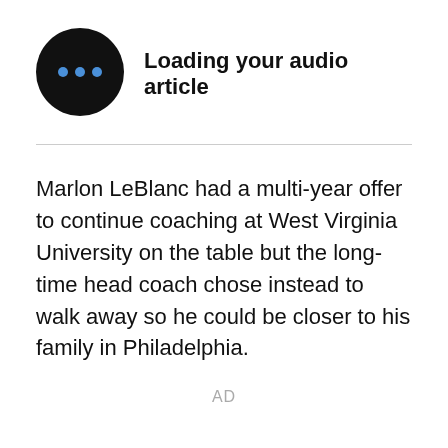[Figure (illustration): Black circular icon with three blue dots arranged horizontally, representing an audio loading/playing button]
Loading your audio article
Marlon LeBlanc had a multi-year offer to continue coaching at West Virginia University on the table but the long-time head coach chose instead to walk away so he could be closer to his family in Philadelphia.
AD